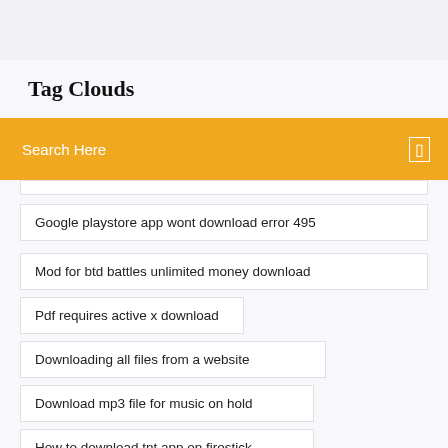Tag Clouds
Search Here
Google playstore app wont download error 495
Mod for btd battles unlimited money download
Pdf requires active x download
Downloading all files from a website
Download mp3 file for music on hold
How to download tnt app on firestick